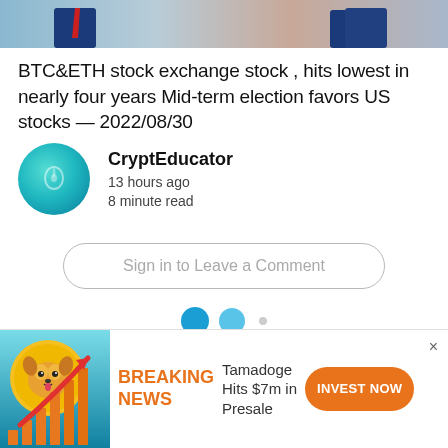[Figure (photo): Partial image of people in suits at top of page, cropped]
BTC&ETH stock exchange stock , hits lowest in nearly four years Mid-term election favors US stocks — 2022/08/30
CryptEducator
13 hours ago
8 minute read
Sign in to Leave a Comment
[Figure (other): Pagination dots: two blue circles and a small grey dot]
[Figure (illustration): Ad banner: crypto dog coin with rising chart arrow. BREAKING NEWS - Tamadoge Hits $7m in Presale. INVEST NOW button.]